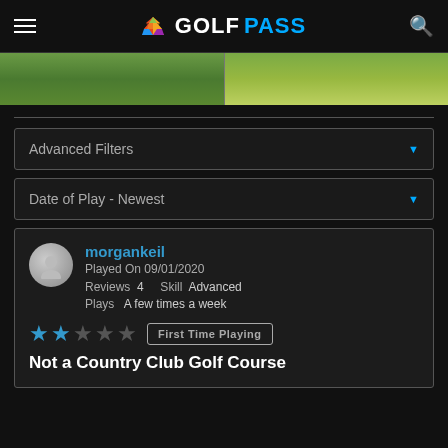GOLFPASS
[Figure (photo): Golf course green grass fairway split into two panels]
Advanced Filters
Date of Play - Newest
morgankeil
Played On 09/01/2020
Reviews 4   Skill Advanced
Plays A few times a week
★★☆☆☆  First Time Playing
Not a Country Club Golf Course